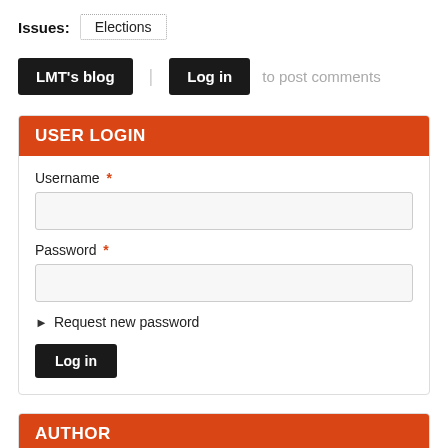Issues: Elections
LMT's blog  Log in to post comments
USER LOGIN
Username *
Password *
▶ Request new password
Log in
AUTHOR
[Figure (photo): Blurred author image with blue and red colored blocks]